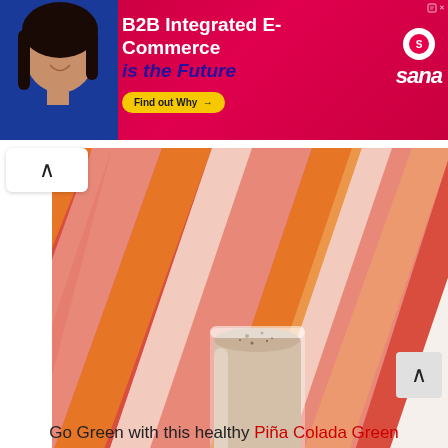[Figure (photo): Advertisement banner with pink/red background showing a young woman, text 'B2B Integrated E-Commerce is the Future', a yellow 'Find out Why' button, and the Sana logo]
[Figure (photo): Close-up photo of a smoothie in a glass sitting on a colorful striped cloth (red, orange, white stripes)]
Write your cookie consent here. We use cookies to provide you with a great experience and to help our website run effectively. Read More
out this recipe)
Go Green with this healthy Piña Colada Green
OKAY